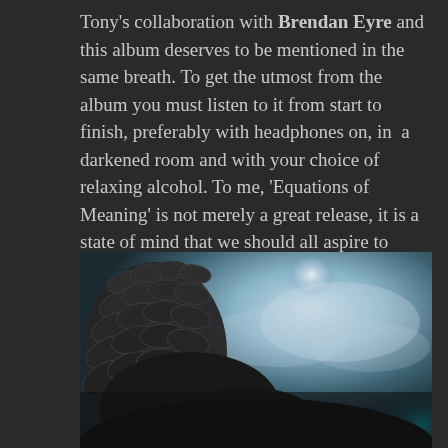Tony's collaboration with Brendan Eyre and this album deserves to be mentioned in the same breath. To get the utmost from the album you must listen to it from start to finish, preferably with headphones on, in a darkened room and with your choice of relaxing alcohol. To me, 'Equations of Meaning' is not merely a great release, it is a state of mind that we should all aspire to when our Life in the Fast Lane gets too much for us. Superb and highly recommended.
[Figure (illustration): Album artwork showing a dark wolf or creature with feathered wings visible on the left, with a glowing teal/blue and misty white background. The animal's eye is visible in the lower right of the image.]